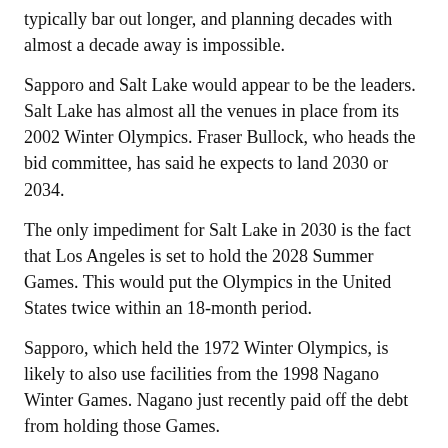typically bar out longer, and planning decades with almost a decade away is impossible.
Sapporo and Salt Lake would appear to be the leaders. Salt Lake has almost all the venues in place from its 2002 Winter Olympics. Fraser Bullock, who heads the bid committee, has said he expects to land 2030 or 2034.
The only impediment for Salt Lake in 2030 is the fact that Los Angeles is set to hold the 2028 Summer Games. This would put the Olympics in the United States twice within an 18-month period.
Sapporo, which held the 1972 Winter Olympics, is likely to also use facilities from the 1998 Nagano Winter Games. Nagano just recently paid off the debt from holding those Games.
Sapporo also got high marks from the IOC for holding the marathon and race walks for the one-year delayed Tokyo 2020 Olympics.